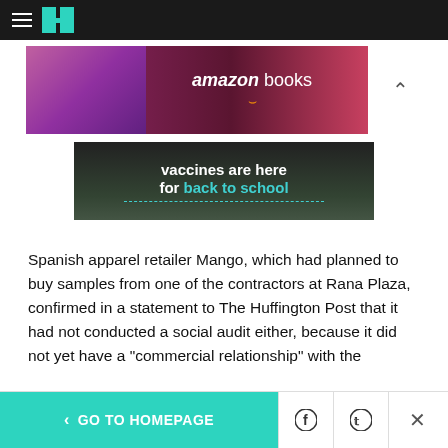HuffPost navigation bar with hamburger menu and logo
[Figure (other): Amazon Books advertisement banner showing a person reading a book with text 'amazon books' and Amazon smile logo]
[Figure (other): Advertisement banner with dark background showing text 'vaccines are here for back to school' with teal colored 'back to school' text and dashed underline]
Spanish apparel retailer Mango, which had planned to buy samples from one of the contractors at Rana Plaza, confirmed in a statement to The Huffington Post that it had not conducted a social audit either, because it did not yet have a "commercial relationship" with the
< GO TO HOMEPAGE | Facebook | Twitter | X